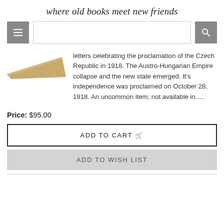where old books meet new friends
[Figure (photo): Navigation bar with hamburger menu button, search input field, and search button]
[Figure (photo): Book or paper item thumbnail image, tan/brown colored, angled shape suggesting a book or pamphlet]
letters celebrating the proclamation of the Czech Republic in 1918. The Austro-Hungarian Empire collapse and the new state emerged. It's independence was proclaimed on October 28, 1918. An uncommon item; not available in.....
Price: $95.00
ADD TO CART
ADD TO WISH LIST